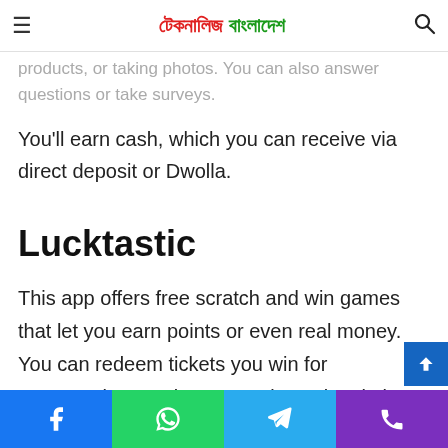টেকনালিজ বাংলাদেশ
products, or taking photos. You can also answer questions or take surveys.
You'll earn cash, which you can receive via direct deposit or Dwolla.
Lucktastic
This app offers free scratch and win games that let you earn points or even real money. You can redeem tickets you win for sweepstakes entries, magazine subscriptions, gift cards,